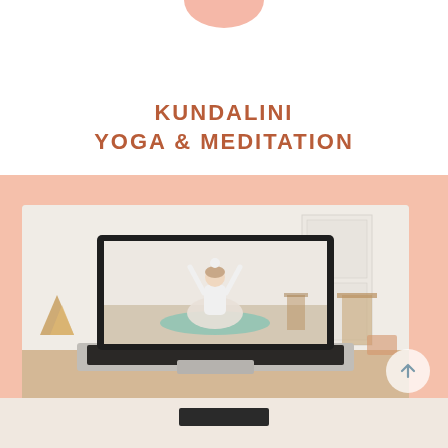KUNDALINI YOGA & MEDITATION
[Figure (photo): A laptop computer on a wooden desk displaying a woman in white doing a yoga pose with arms raised overhead, sitting cross-legged on a mint green mat in a bright room. Golden decorative objects visible on left side of desk, with a small round object on the right.]